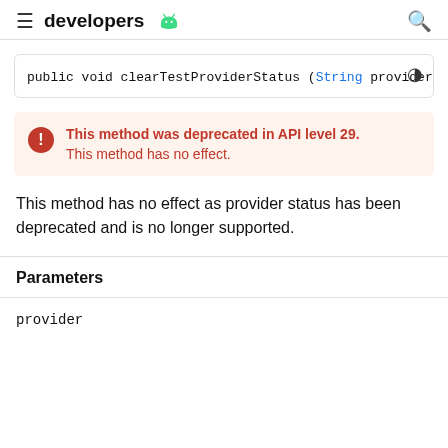developers
This method was deprecated in API level 29. This method has no effect.
This method has no effect as provider status has been deprecated and is no longer supported.
Parameters
provider